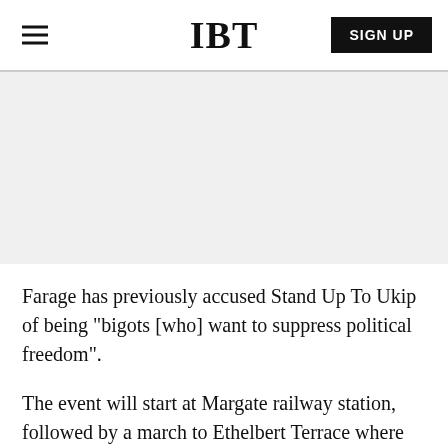IBT
[Figure (other): Gray advertisement placeholder banner]
Farage has previously accused Stand Up To Ukip of being "bigots [who] want to suppress political freedom".
The event will start at Margate railway station, followed by a march to Ethelbert Terrace where